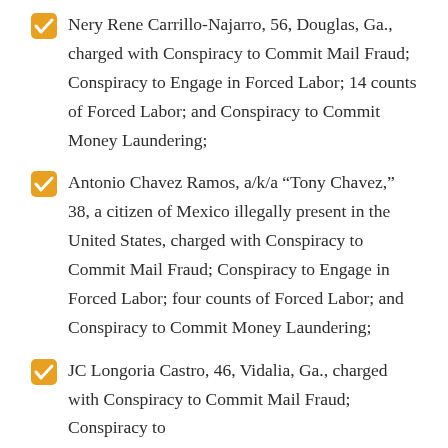Nery Rene Carrillo-Najarro, 56, Douglas, Ga., charged with Conspiracy to Commit Mail Fraud; Conspiracy to Engage in Forced Labor; 14 counts of Forced Labor; and Conspiracy to Commit Money Laundering;
Antonio Chavez Ramos, a/k/a “Tony Chavez,” 38, a citizen of Mexico illegally present in the United States, charged with Conspiracy to Commit Mail Fraud; Conspiracy to Engage in Forced Labor; four counts of Forced Labor; and Conspiracy to Commit Money Laundering;
JC Longoria Castro, 46, Vidalia, Ga., charged with Conspiracy to Commit Mail Fraud; Conspiracy to…